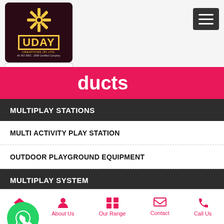[Figure (logo): Uday Creations (P) Ltd logo with golden star/snowflake symbol on dark maroon background, ISO certified company, Since 1996]
ducts
MULTIPLAY STATIONS
MULTI ACTIVITY PLAY STATION
OUTDOOR PLAYGROUND EQUIPMENT
MULTIPLAY SYSTEM
OOR PLAY SET
ROTO (LLDPE) MULTIPLAY EQUIPMENT
[Figure (other): WhatsApp contact button (green circle with phone icon)]
[Figure (other): Get Quotes button (pink pill with envelope icon)]
[Figure (other): Scroll up button (pink circle with up arrow)]
KIDS PLAY EQUIPMENT
Home  About Us  Our Range  Contact  Call Us